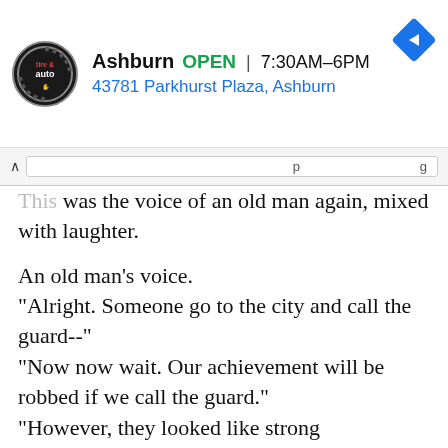[Figure (infographic): Advertisement banner for Ashburn tire & auto shop. Shows logo, business name 'Ashburn', status 'OPEN', hours '7:30AM–6PM', address '43781 Parkhurst Plaza, Ashburn', and a blue navigation diamond icon.]
This was the voice of an old man again, mixed with laughter.
An old man's voice.
"Alright. Someone go to the city and call the guard--"
"Now now wait. Our achievement will be robbed if we call the guard."
"However, they looked like strong adventurers."
"They're sleeping right?"
"That's right but..."